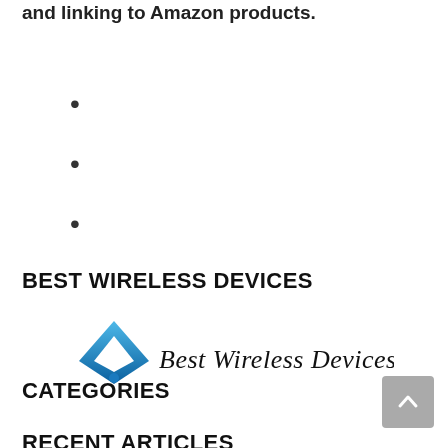and linking to Amazon products.
BEST WIRELESS DEVICES
[Figure (logo): Best Wireless Devices logo with blue WiFi diamond icon and stylized text 'Best Wireless Devices']
CATEGORIES
RECENT ARTICLES